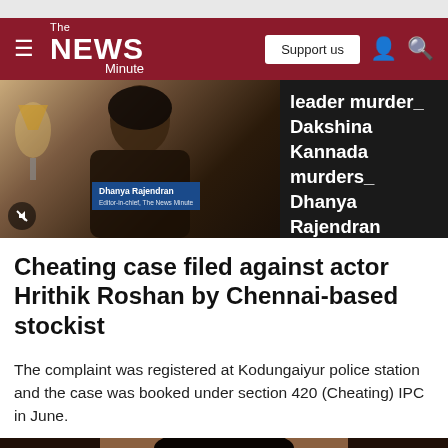[Figure (screenshot): The News Minute website navigation bar with hamburger menu, logo, Support us button, person icon, and search icon on dark red background]
[Figure (photo): Video panel showing Dhanya Rajendran, Editor-in-chief of The News Minute, with name tag overlay and mute button. Adjacent dark panel shows text: leader murder_ Dakshina Kannada murders_ Dhanya Rajendran]
Cheating case filed against actor Hrithik Roshan by Chennai-based stockist
The complaint was registered at Kodungaiyur police station and the case was booked under section 420 (Cheating) IPC in June.
[Figure (photo): Bottom cropped photo showing top of a person's head with dark hair]